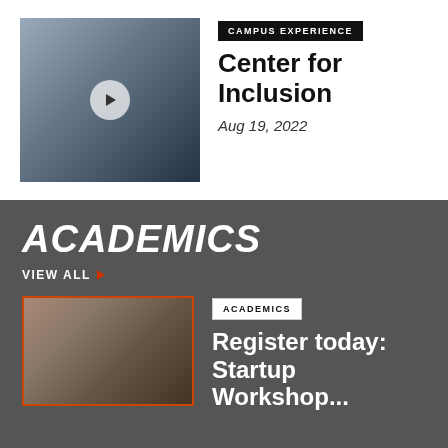[Figure (photo): Group of people cutting a ribbon at an event, some wearing masks]
CAMPUS EXPERIENCE
Center for Inclusion
Aug 19, 2022
ACADEMICS
VIEW ALL ▶
[Figure (photo): Students working together at a startup workshop event]
ACADEMICS
Register today: Startup Workshop...